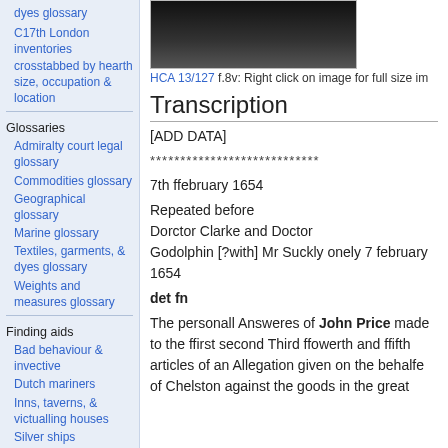dyes glossary
C17th London inventories crosstabbed by hearth size, occupation & location
Glossaries
Admiralty court legal glossary
Commodities glossary
Geographical glossary
Marine glossary
Textiles, garments, & dyes glossary
Weights and measures glossary
Finding aids
Bad behaviour & invective
Dutch mariners
Inns, taverns, & victualling houses
Silver ships
Slavery
London hearth tax
[Figure (photo): Dark photograph, possibly a portrait, shown partially at top of main content area.]
HCA 13/127 f.8v: Right click on image for full size im
Transcription
[ADD DATA]
****************************
7th ffebruary 1654
Repeated before
Dorctor Clarke and Doctor
Godolphin [?with] Mr Suckly onely 7 february
1654
det fn
The personall Answeres of John Price made to the ffirst second Third ffowerth and ffifth articles of an Allegation given on the behalfe of Chelston against the goods in the great